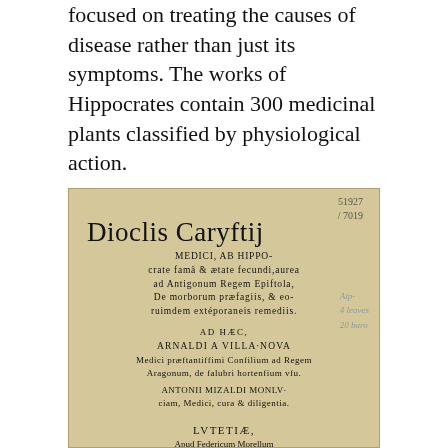focused on treating the causes of disease rather than just its symptoms. The works of Hippocrates contain 300 medicinal plants classified by physiological action.
[Figure (photo): Photograph of an old book title page: 'Dioclis Caryftij MEDICI, AB HIPPO-crate famâ & ætate fecundi, aurea ad Antigonum Regem Epiftola, De morborum præfagiis, & eorum dem extéporaneis remediis. AD HÆC, ARNALDI A VILLA-NOVA Medici præftantiffimi Confilium ad Regem Aragonum, de falubri hortenfium vfu. ANTONII MIZALDI MONLV-ciam, Medici, cura & diligentia. LVTETIÆ, Apud Federicum Morellum Regium Typographum. M. D. LXXII. CVM PRIVILEGIO REGIS.' With handwritten shelf marks and annotations.]